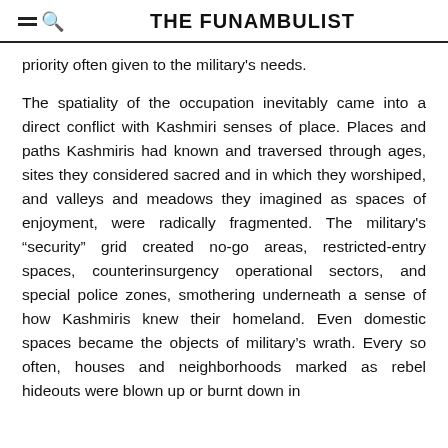THE FUNAMBULIST
priority often given to the military's needs.
The spatiality of the occupation inevitably came into a direct conflict with Kashmiri senses of place. Places and paths Kashmiris had known and traversed through ages, sites they considered sacred and in which they worshiped, and valleys and meadows they imagined as spaces of enjoyment, were radically fragmented. The military's “security” grid created no-go areas, restricted-entry spaces, counterinsurgency operational sectors, and special police zones, smothering underneath a sense of how Kashmiris knew their homeland. Even domestic spaces became the objects of military’s wrath. Every so often, houses and neighborhoods marked as rebel hideouts were blown up or burnt down in